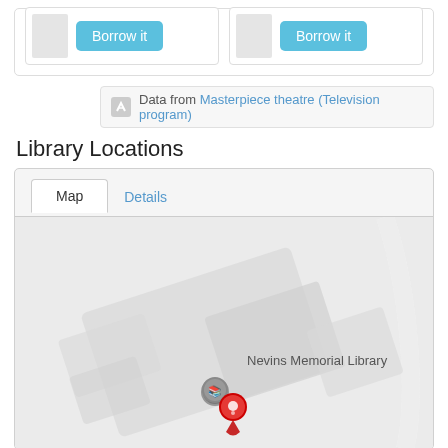[Figure (screenshot): Two book cards each with a 'Borrow it' blue button, shown in a bordered card row]
Data from Masterpiece theatre (Television program)
Library Locations
[Figure (map): Google Maps showing Nevins Memorial Library with a red location pin and a grey book map marker icon]